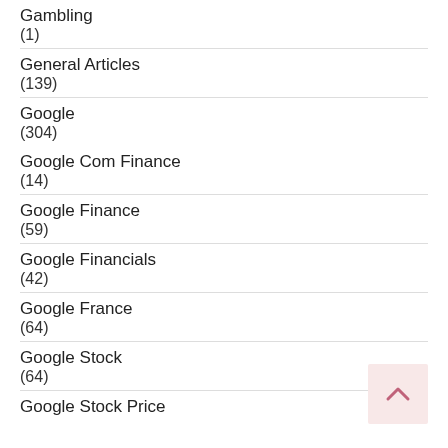Gambling
(1)
General Articles
(139)
Google
(304)
Google Com Finance
(14)
Google Finance
(59)
Google Financials
(42)
Google France
(64)
Google Stock
(64)
Google Stock Price